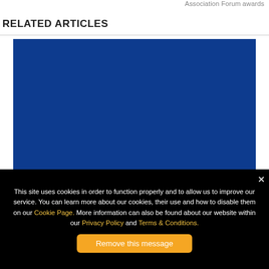Association Forum awards
RELATED ARTICLES
[Figure (photo): A solid dark blue rectangular image placeholder]
This site uses cookies in order to function properly and to allow us to improve our service. You can learn more about our cookies, their use and how to disable them on our Cookie Page. More information can also be found about our website within our Privacy Policy and Terms & Conditions.
Remove this message